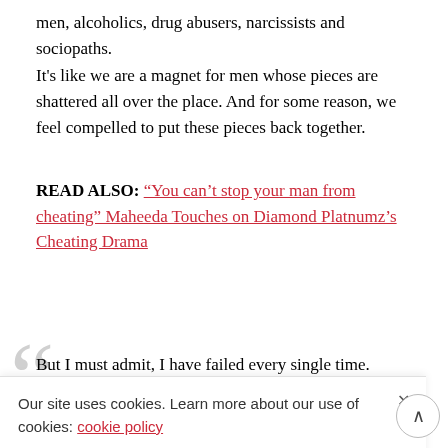men, alcoholics, drug abusers, narcissists and sociopaths.
It's like we are a magnet for men whose pieces are shattered all over the place. And for some reason, we feel compelled to put these pieces back together.
READ ALSO: "You can't stop your man from cheating" Maheeda Touches on Diamond Platnumz's Cheating Drama
But I must admit, I have failed every single time.
Our site uses cookies. Learn more about our use of cookies: cookie policy
I ACCEPT USE OF COOKIES
didn't matter because I was putting someone else's